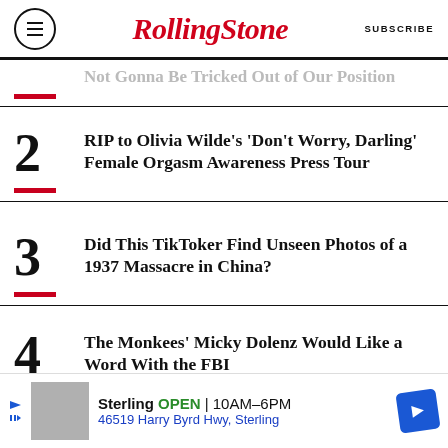RollingStone | SUBSCRIBE
Not Gonna Be Tricked Out of Our Position
2 RIP to Olivia Wilde's 'Don't Worry, Darling' Female Orgasm Awareness Press Tour
3 Did This TikToker Find Unseen Photos of a 1937 Massacre in China?
4 The Monkees' Micky Dolenz Would Like a Word With the FBI
5 Biden Slams 'MAGA Republicans' in Fiery Speech: 'You Can't Love Your Country Only When You Win'
[Figure (other): Advertisement banner: Sterling store, OPEN 10AM-6PM, 46519 Harry Byrd Hwy, Sterling]